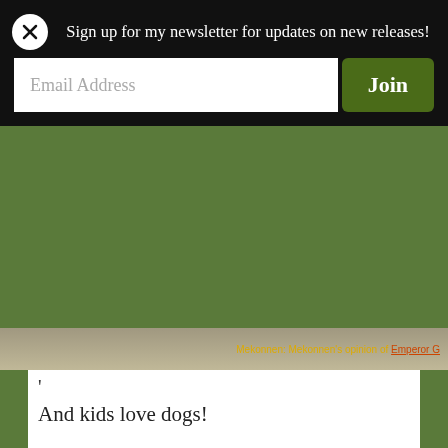Sign up for my newsletter for updates on new releases!
Email Address
Join
Mekonnen: Mekonnen's opinion of Emperor G...
‘
And kids love dogs!
[Figure (screenshot): Game screenshot showing two figures fighting, one dark silhouette and one on fire, with a game card UI element at the bottom showing a crowned character portrait]